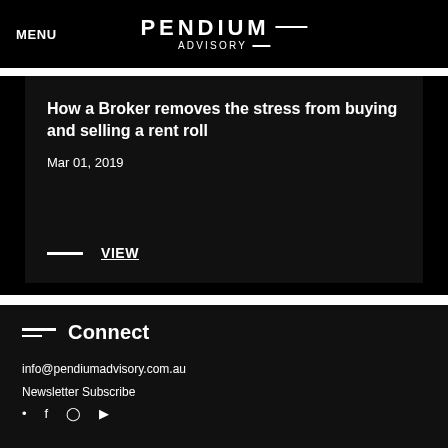MENU   PENDIUM ADVISORY
How a Broker removes the stress from buying and selling a rent roll
Mar 01, 2019
VIEW
Connect
info@pendiumadvisory.com.au
Newsletter Subscribe